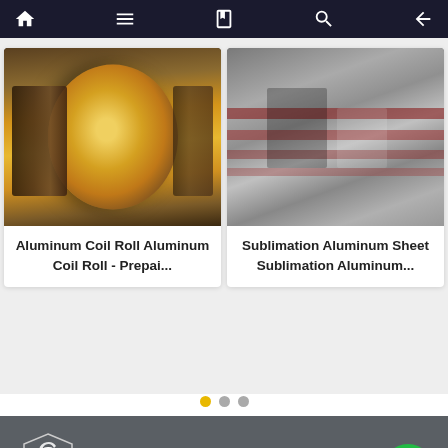Navigation bar with home, menu, bookmark, search icons and back arrow
[Figure (photo): Aluminum coil roll - large yellow/gold colored coil on industrial machinery]
Aluminum Coil Roll Aluminum Coil Roll - Prepai...
[Figure (photo): Sublimation aluminum sheet - stacked aluminum sheets with light and shadow]
Sublimation Aluminum Sheet Sublimation Aluminum...
[Figure (other): Pagination dots: one gold active dot and two gray inactive dots]
[Figure (logo): Orient Steel company logo - stylized letter G in a shield shape, white on dark background, with text ORIENT STEEL below]
Adress: GUANXIAN INDUSTRIAL PARK, LIAO CHENG, SHANDONG PROVINCE
Phone: +86-531-88581682
E-mail: info@sdosteel.com
Skype:david.gexp